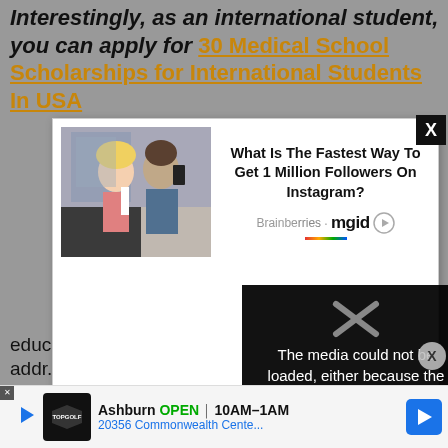Interestingly, as an international student, you can apply for 30 Medical School Scholarships for International Students In USA
[Figure (screenshot): Advertisement modal overlay showing a photo of two people (woman with blonde hair and man) and text: What Is The Fastest Way To Get 1 Million Followers On Instagram? with Brainberries and mgid branding]
[Figure (screenshot): Video player error message: The media could not be loaded, either because the server or network failed or because the]
education and service... addr...
[Figure (screenshot): Bottom banner advertisement: Topgolf logo, Ashburn OPEN 10AM-1AM, 20356 Commonwealth Cente... with navigation arrow icon]